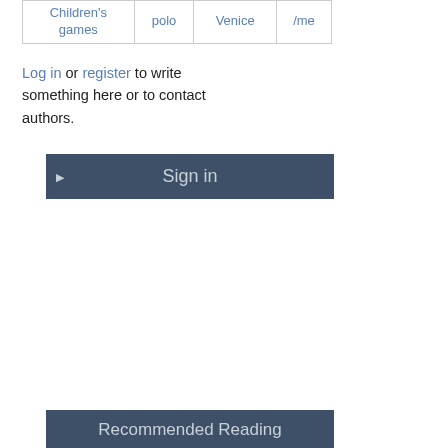| Children's games | polo | Venice | /me |
| --- | --- | --- | --- |
Log in or register to write something here or to contact authors.
[Figure (screenshot): Sign in button with dark blue/slate background and right-pointing triangle on the left]
[Figure (screenshot): Recommended Reading section header with dark blue/slate background]